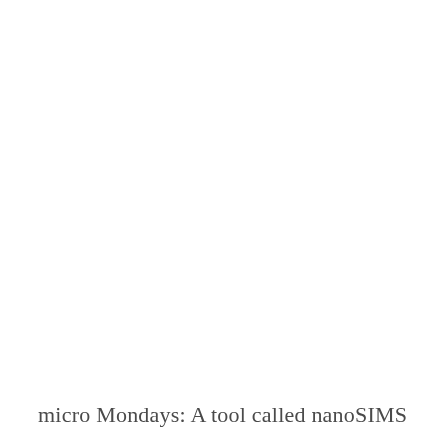micro Mondays: A tool called nanoSIMS